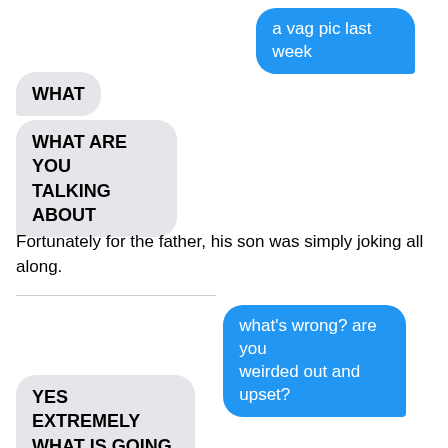a vag pic last week
WHAT
WHAT ARE YOU TALKING ABOUT
Fortunately for the father, his son was simply joking all along.
what's wrong? are you weirded out and upset?
YES EXTREMELY
WHAT IS GOING ON